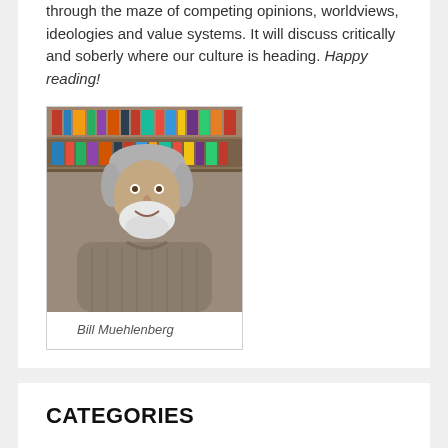through the maze of competing opinions, worldviews, ideologies and value systems. It will discuss critically and soberly where our culture is heading. Happy reading!
[Figure (photo): Portrait photo of Bill Muehlenberg, a middle-aged man with grey hair and a white beard, smiling, with bookshelves in the background.]
Bill Muehlenberg
CATEGORIES